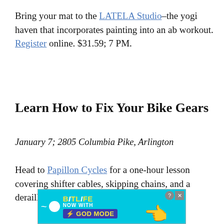Bring your mat to the LATELA Studio–the yogi haven that incorporates painting into an ab workout. Register online. $31.59; 7 PM.
Learn How to Fix Your Bike Gears
January 7; 2805 Columbia Pike, Arlington
Head to Papillon Cycles for a one-hour lesson covering shifter cables, skipping chains, and a derailleur. Free; 7 PM.
[Figure (other): BitLife advertisement banner — 'BitLife NOW WITH GOD MODE' with a pointing hand illustration]